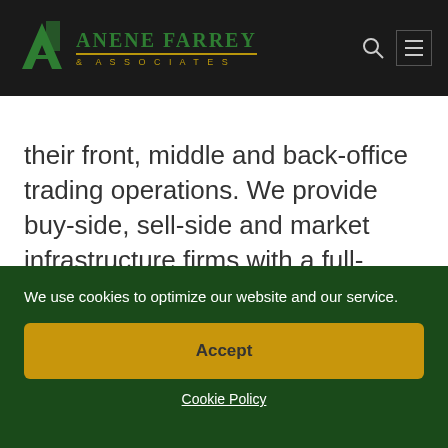ANENE FARREY & ASSOCIATES
their front, middle and back-office trading operations. We provide buy-side, sell-side and market infrastructure firms with a full-service offering, including systems integration and technology consulting services, to assist in delivering high performance trading and settlement. These apps run on a custom built blockchain, an enormously powerful shared global infrastructure that can move
We use cookies to optimize our website and our service.
Accept
Cookie Policy